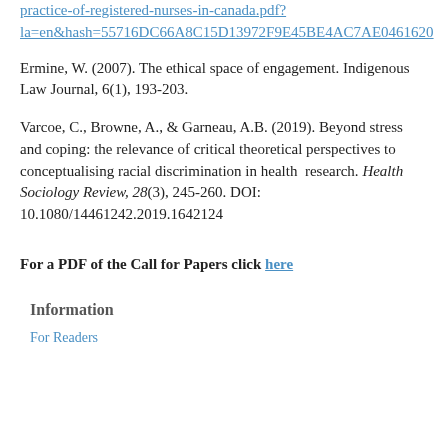practice-of-registered-nurses-in-canada.pdf?la=en&hash=55716DC66A8C15D13972F9E45BE4AC7AE0461620
Ermine, W. (2007). The ethical space of engagement. Indigenous Law Journal, 6(1), 193-203.
Varcoe, C., Browne, A., & Garneau, A.B. (2019). Beyond stress and coping: the relevance of critical theoretical perspectives to conceptualising racial discrimination in health research. Health Sociology Review, 28(3), 245-260. DOI: 10.1080/14461242.2019.1642124
For a PDF of the Call for Papers click here
Information
For Readers